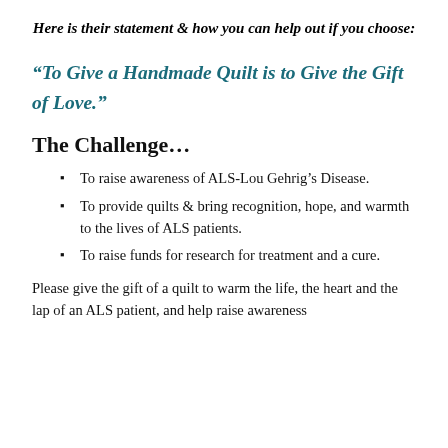Here is their statement & how you can help out if you choose:
“To Give a Handmade Quilt is to Give the Gift of Love.”
The Challenge…
To raise awareness of ALS-Lou Gehrig’s Disease.
To provide quilts & bring recognition, hope, and warmth to the lives of ALS patients.
To raise funds for research for treatment and a cure.
Please give the gift of a quilt to warm the life, the heart and the lap of an ALS patient, and help raise awareness